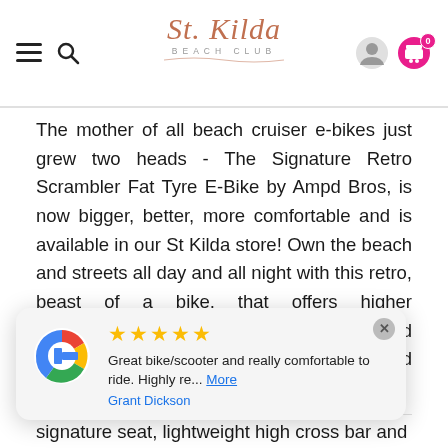St. Kilda Beach Club — navigation header with hamburger menu, search icon, logo, user icon, and cart icon (badge: 0)
The mother of all beach cruiser e-bikes just grew two heads - The Signature Retro Scrambler Fat Tyre E-Bike by Ampd Bros, is now bigger, better, more comfortable and is available in our St Kilda store! Own the beach and streets all day and all night with this retro, beast of a bike, that offers higher performance and amazing style. Designed with extra comfort and easy access in mind the ACE S model offers a step through frame, for those looking for a speedy take off and exit.
Designed by a local Australian team, St Kilda
[Figure (other): Google review popup card showing 5 gold stars, review text 'Great bike/scooter and really comfortable to ride. Highly re... More' by Grant Dickson, with Google logo on the left.]
signature seat, lightweight high cross bar and